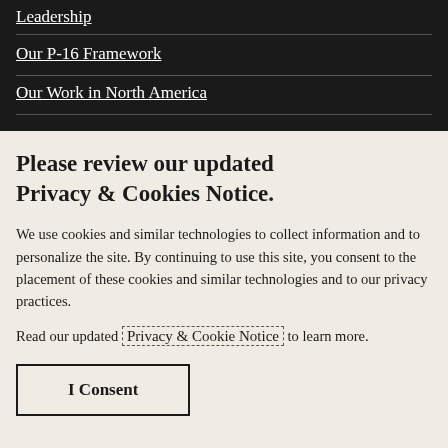Leadership
Our P-16 Framework
Our Work in North America
Please review our updated Privacy & Cookies Notice.
We use cookies and similar technologies to collect information and to personalize the site. By continuing to use this site, you consent to the placement of these cookies and similar technologies and to our privacy practices.
Read our updated Privacy & Cookie Notice to learn more.
I Consent